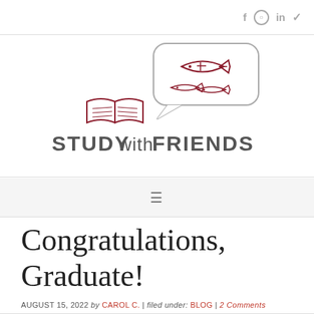f  ○  in  ✓
[Figure (logo): StudyWithFriends logo: open book above text 'STUDYwithFRIENDS' in dark gray/crimson, with a speech bubble containing ichthys fish symbols to the upper right]
Congratulations, Graduate!
AUGUST 15, 2022  by  CAROL C.  |  filed under:  BLOG  |  2 Comments